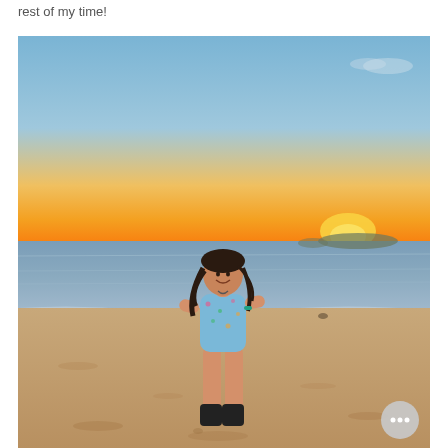rest of my time!
[Figure (photo): A woman in a blue patterned swimsuit and black ankle boots standing on a sandy beach, smiling, with wet hair. Behind her is a beautiful sunset sky with orange and yellow hues near the horizon, transitioning to pale blue above. A calm sea stretches to the horizon with a rocky landmass visible in the distance. A circular chat button overlay appears in the bottom-right corner.]